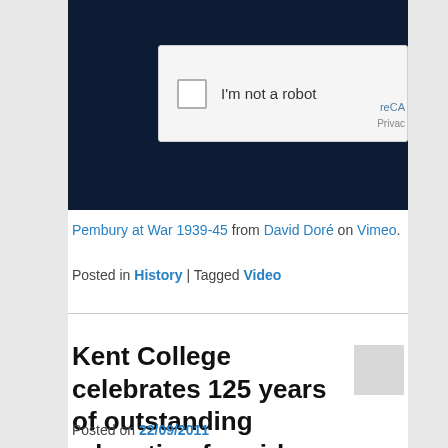[Figure (screenshot): A dark navy video embed area showing a reCAPTCHA 'I'm not a robot' checkbox widget on a light gray background, with partial reCAPTCHA logo and Privacy text visible at the right edge.]
Pembury at War 1939-45 from David Doré on Vimeo.
Posted in History | Tagged Video
Kent College celebrates 125 years of outstanding education for girls
Posted on 22/09/2011